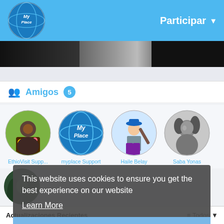MyPlace — Participar
[Figure (screenshot): MyPlace logo globe in top-left nav bar]
[Figure (photo): Image strip with three dark photo sections]
Amigos 5
[Figure (photo): EthioVisit Supp... — child with flowers avatar]
[Figure (illustration): myplace Support — MyPlace globe logo avatar]
[Figure (illustration): Haile Belay — animated character avatar]
[Figure (photo): Saba Yonas — black and white portrait photo]
[Figure (photo): Bety Belay — dark green forest avatar]
This website uses cookies to ensure you get the best experience on our website
Learn More
Got It!
Actualizaciones Recientes   ≡ Todos ▼